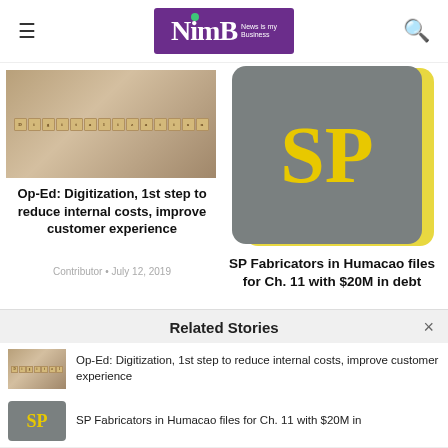NimB - News Is my Business
[Figure (photo): Scrabble tiles spelling 'Digitalization' on a wooden surface]
Op-Ed: Digitization, 1st step to reduce internal costs, improve customer experience
Contributor · July 12, 2019
[Figure (logo): SP Fabricators logo: gold S and P letters on gray rounded rectangle background]
SP Fabricators in Humacao files for Ch. 11 with $20M in debt
Michelle Kantrow-Vázquez · April 5, 2013
Related Stories
[Figure (photo): Small thumbnail: Scrabble tiles 'Digitalization']
Op-Ed: Digitization, 1st step to reduce internal costs, improve customer experience
[Figure (logo): Small thumbnail: SP Fabricators logo]
SP Fabricators in Humacao files for Ch. 11 with $20M in